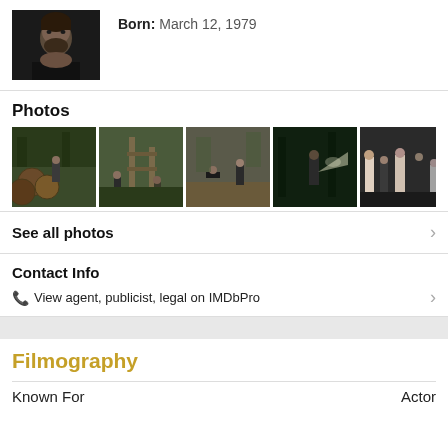[Figure (photo): Profile photo of a male actor with dark hair and beard]
Born: March 12, 1979
Photos
[Figure (photo): Five movie scene thumbnail photos in a horizontal row]
See all photos
Contact Info
View agent, publicist, legal on IMDbPro
Filmography
Known For   Actor